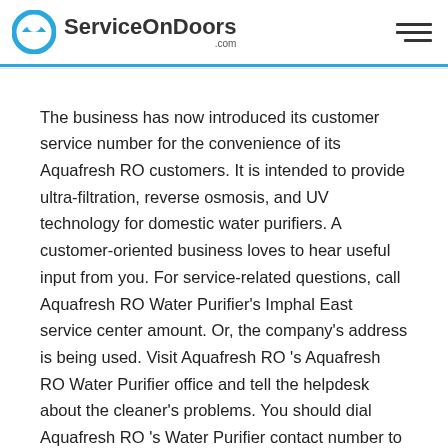ServiceOnDoors .com
The business has now introduced its customer service number for the convenience of its Aquafresh RO customers. It is intended to provide ultra-filtration, reverse osmosis, and UV technology for domestic water purifiers. A customer-oriented business loves to hear useful input from you. For service-related questions, call Aquafresh RO Water Purifier's Imphal East service center amount. Or, the company's address is being used. Visit Aquafresh RO 's Aquafresh RO Water Purifier office and tell the helpdesk about the cleaner's problems. You should dial Aquafresh RO 's Water Purifier contact number to know if there is any